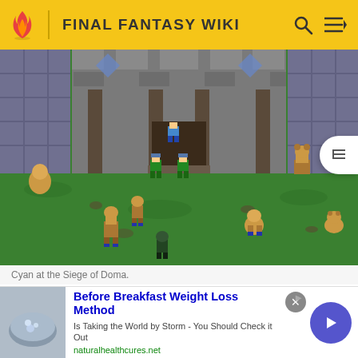FINAL FANTASY WIKI
[Figure (screenshot): Pixel art RPG game screenshot showing Cyan at the Siege of Doma. Characters in green armor stand in front of a stone castle/fortress on a grassy field. Several other characters are visible including guards and civilians.]
Cyan at the Siege of Doma.
In the World of Balance, Cyan is playable in Sabin's segment of the Three Scenarios during the Siege of
[Figure (infographic): Advertisement banner: Before Breakfast Weight Loss Method - Is Taking the World by Storm - You Should Check it Out - naturalhealthcures.net]